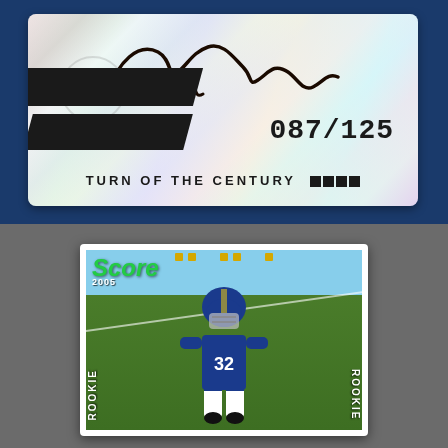[Figure (photo): Top trading card: holographic autograph card with signature, serial number 087/125, diagonal black stripes, text 'TURN OF THE CENTURY' with four black squares, embossed stamp watermark. Dark blue background behind card.]
[Figure (photo): Bottom trading card: 2005 Score NFL rookie card featuring a football player in dark blue uniform/helmet on a football field. Score logo in green italic font top-left, gold dots decoration top center, 'ROOKIE' text on sides. Gray background behind card.]